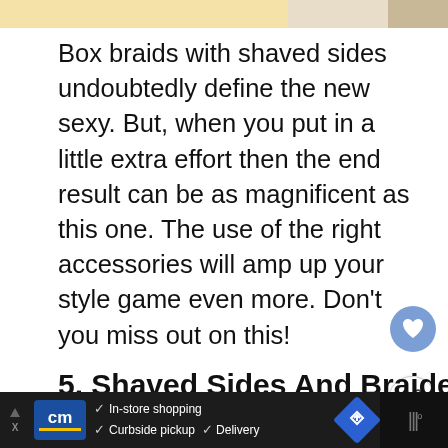[Figure (photo): Cropped top portion of a web article page with a yellow/tan advertisement banner at top]
Box braids with shaved sides undoubtedly define the new sexy. But, when you put in a little extra effort then the end result can be as magnificent as this one. The use of the right accessories will amp up your style game even more. Don't you miss out on this!
5. Shaved Sides And Braided Up...
[Figure (photo): What's Next widget showing a woman's photo and text '33 Respectful Short...']
[Figure (photo): Blue braided hair updo hairstyle image at bottom]
In-store shopping  Curbside pickup  Delivery  [cm logo ad banner]